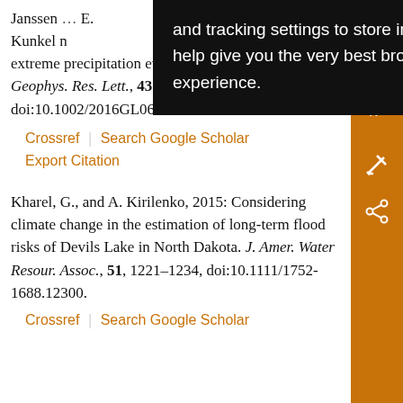[Figure (screenshot): Black tooltip/overlay popup with white text reading: 'and tracking settings to store information that help give you the very best browsing experience.']
Janssen... E. Kunkel... extreme precipitation event frequency using CMIP5. Geophys. Res. Lett., 43, 5385–5393, doi:10.1002/2016GL069151.
Crossref | Search Google Scholar | Export Citation
Kharel, G., and A. Kirilenko, 2015: Considering climate change in the estimation of long-term flood risks of Devils Lake in North Dakota. J. Amer. Water Resour. Assoc., 51, 1221–1234, doi:10.1111/1752-1688.12300.
Crossref | Search Google Scholar